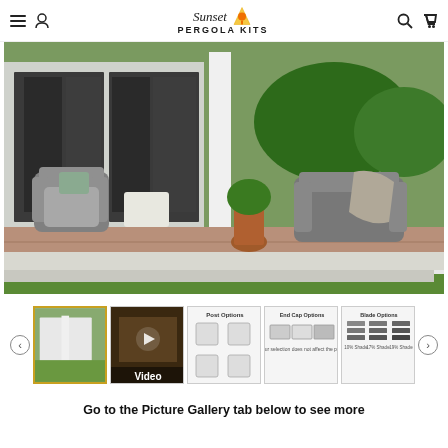Sunset Pergola Kits — navigation header with menu, account, search, and cart icons
[Figure (photo): Outdoor patio with a white pergola, grey wicker furniture including armchairs and a sofa, potted plants, brick paving, green lawn and bushes in background, attached to a white house with sliding glass doors]
[Figure (photo): Thumbnail 1 (active): White pergola structure on green grass]
[Figure (photo): Thumbnail 2: Video thumbnail showing outdoor pergola with 'Video' label]
[Figure (photo): Thumbnail 3: Post options diagram showing 8-inch and 5-inch square options]
[Figure (photo): Thumbnail 4: End cap options diagram showing standard, flat, and rounded options]
[Figure (photo): Thumbnail 5: Shade blade options diagram showing 10%, 17%, and 19% shade options]
Go to the Picture Gallery tab below to see more